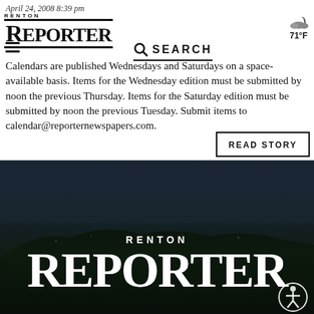April 24, 2008 8:39 pm
[Figure (logo): Renton Reporter newspaper logo with 'RENTON' in small caps above large 'REPORTER' text, with weather icon showing 71°F and cloudy/moon icon in top right]
Calendars are published Wednesdays and Saturdays on a space-available basis. Items for the Wednesday edition must be submitted by noon the previous Thursday. Items for the Saturday edition must be submitted by noon the previous Tuesday. Submit items to calendar@reporternewspapers.com.
[Figure (screenshot): Renton Reporter full-width banner image showing aerial city view at dusk/night with 'RENTON REPORTER' text in white overlay and accessibility icon in bottom right corner]